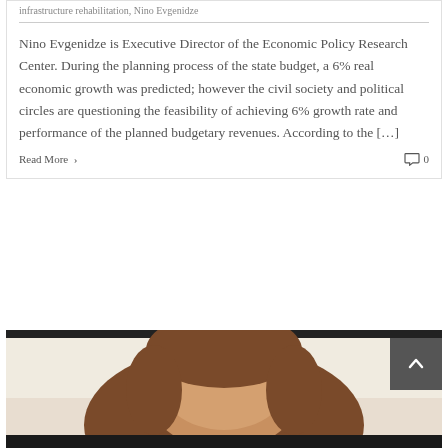infrastructure rehabilitation, Nino Evgenidze
Nino Evgenidze is Executive Director of the Economic Policy Research Center. During the planning process of the state budget, a 6% real economic growth was predicted; however the civil society and political circles are questioning the feasibility of achieving 6% growth rate and performance of the planned budgetary revenues. According to the […]
Read More  0
[Figure (photo): Photo of a person, partially visible, showing top of head with brown hair against a light background]